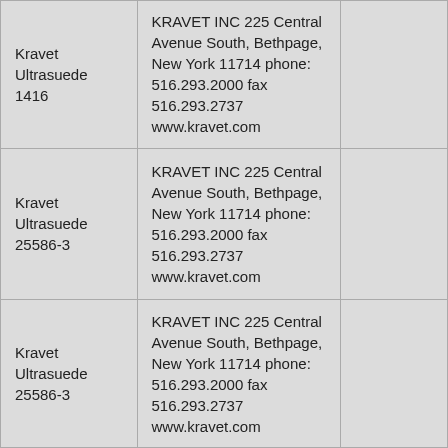| Kravet Ultrasuede 1416 | KRAVET INC 225 Central Avenue South, Bethpage, New York 11714 phone: 516.293.2000 fax 516.293.2737 www.kravet.com |  |
| Kravet Ultrasuede 25586-3 | KRAVET INC 225 Central Avenue South, Bethpage, New York 11714 phone: 516.293.2000 fax 516.293.2737 www.kravet.com |  |
| Kravet Ultrasuede 25586-3 | KRAVET INC 225 Central Avenue South, Bethpage, New York 11714 phone: 516.293.2000 fax 516.293.2737 www.kravet.com |  |